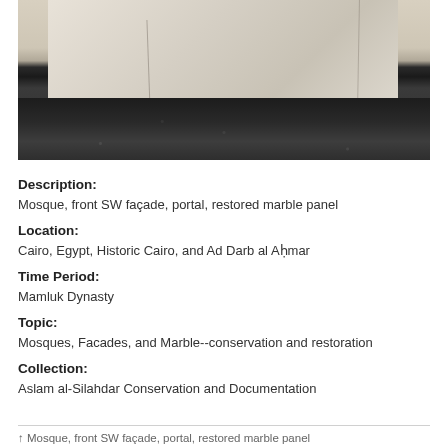[Figure (photo): Close-up photograph of a mosque's restored marble panel at the front SW façade portal, showing white/cream marble block above dark stone base]
Description:
Mosque, front SW façade, portal, restored marble panel
Location:
Cairo, Egypt, Historic Cairo, and Ad Darb al Aḥmar
Time Period:
Mamluk Dynasty
Topic:
Mosques, Facades, and Marble--conservation and restoration
Collection:
Aslam al-Silahdar Conservation and Documentation